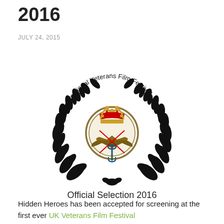2016
JULY 24, 2015
[Figure (logo): UK International Veterans Film Festival Official Selection 2016 logo — black laurel wreath with UK Armed Forces tri-service badge in centre (featuring a crown, anchor, RAF eagle and crossed rifles), curved text reading 'UK International Veterans Film Festival' and below 'Official Selection 2016']
Hidden Heroes has been accepted for screening at the first ever UK Veterans Film Festival